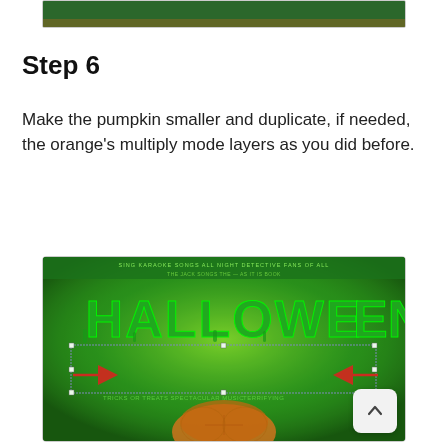[Figure (photo): Top portion of a Halloween green-themed image, partially visible, cropped at the top of the page]
Step 6
Make the pumpkin smaller and duplicate, if needed, the orange's multiply mode layers as you did before.
[Figure (screenshot): Screenshot of a photo editing application showing a green-tinted Halloween image with the word HALLOWEEN in large green dripping letters. A pumpkin is visible at the bottom center. Two red arrows point to transformation handles on the left and right sides of a selection box around the text. The image has a green glow effect throughout.]